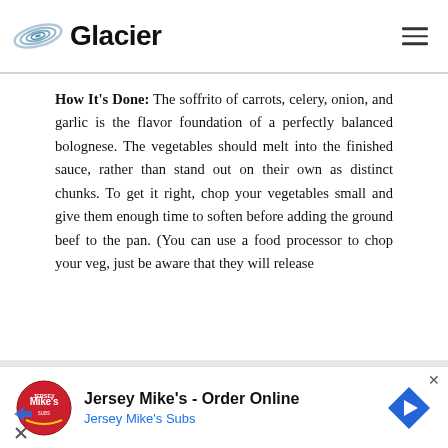Glacier
How It's Done: The soffrito of carrots, celery, onion, and garlic is the flavor foundation of a perfectly balanced bolognese. The vegetables should melt into the finished sauce, rather than stand out on their own as distinct chunks. To get it right, chop your vegetables small and give them enough time to soften before adding the ground beef to the pan. (You can use a food processor to chop your veg, just be aware that they will release
[Figure (infographic): Jersey Mike's advertisement banner showing Jersey Mike's logo, 'Jersey Mike's - Order Online' text, 'Jersey Mike's Subs' subtitle in blue, and a blue navigation arrow icon on the right.]